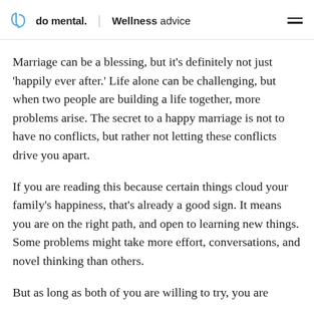do mental. | Wellness advice
Marriage can be a blessing, but it's definitely not just 'happily ever after.' Life alone can be challenging, but when two people are building a life together, more problems arise. The secret to a happy marriage is not to have no conflicts, but rather not letting these conflicts drive you apart.
If you are reading this because certain things cloud your family's happiness, that's already a good sign. It means you are on the right path, and open to learning new things. Some problems might take more effort, conversations, and novel thinking than others.
But as long as both of you are willing to try, you are